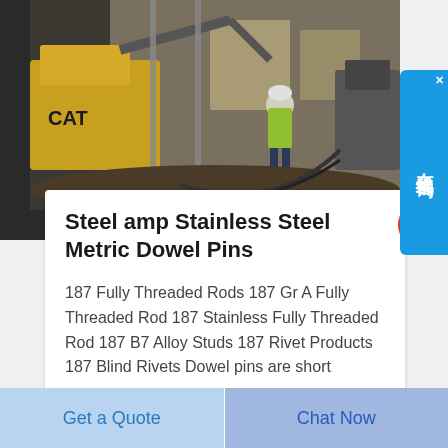[Figure (photo): Construction site photo showing a worker in a yellow safety vest operating near a CAT excavator inside a building demolition/construction area with rebar and concrete debris]
Steel amp Stainless Steel Metric Dowel Pins
187 Fully Threaded Rods 187 Gr A Fully Threaded Rod 187 Stainless Fully Threaded Rod 187 B7 Alloy Studs 187 Rivet Products 187 Blind Rivets Dowel pins are short